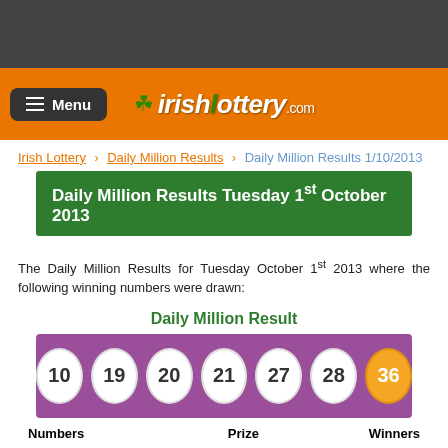irishlottery.com
Irish Lottery > Daily Million Results > Daily Million Results 1/10/2013
Daily Million Results Tuesday 1st October 2013
The Daily Million Results for Tuesday October 1st 2013 where the following winning numbers were drawn:
Daily Million Result
[Figure (infographic): Lottery balls showing winning numbers: 10, 19, 20, 21, 27, 28 (white balls) and 36 (orange bonus ball) on purple background]
| Numbers | Prize | Winners |
| --- | --- | --- |
| Match 6: | €1,000,000 | 0 |
| Match 5 plus Bonus: | €10,000 | 0 |